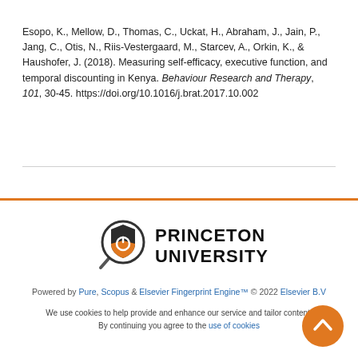Esopo, K., Mellow, D., Thomas, C., Uckat, H., Abraham, J., Jain, P., Jang, C., Otis, N., Riis-Vestergaard, M., Starcev, A., Orkin, K., & Haushofer, J. (2018). Measuring self-efficacy, executive function, and temporal discounting in Kenya. Behaviour Research and Therapy, 101, 30-45. https://doi.org/10.1016/j.brat.2017.10.002
[Figure (logo): Princeton University logo with magnifying glass icon and bold text 'PRINCETON UNIVERSITY']
Powered by Pure, Scopus & Elsevier Fingerprint Engine™ © 2022 Elsevier B.V
We use cookies to help provide and enhance our service and tailor content. By continuing you agree to the use of cookies